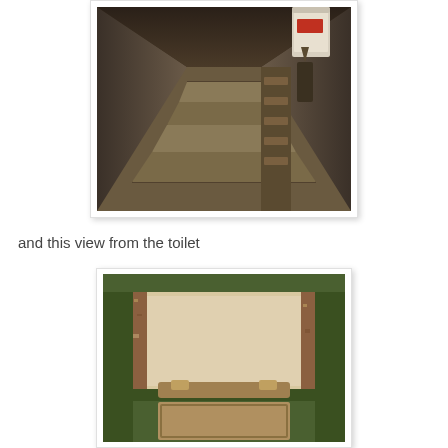[Figure (photo): Interior photo showing a dark, narrow stairway or corridor with concrete/stone steps leading downward, with wooden boards or shelving visible on the right side and a white bucket in the upper right corner.]
and this view from the toilet
[Figure (photo): Interior photo showing a view from a toilet looking outward through a green-painted wooden door frame or cabinet, with a beige/tan wall visible and exposed wooden framing on the sides.]